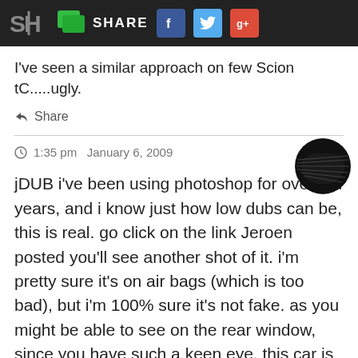SH | SHARE | Facebook | Twitter | Google+
I've seen a similar approach on few Scion tC.....ugly.
Share
1:35 pm  January 6, 2009
jDUB i've been using photoshop for over ten years, and i know just how low dubs can be, this is real. go click on the link Jeroen posted you'll see another shot of it. i'm pretty sure it's on air bags (which is too bad), but i'm 100% sure it's not fake. as you might be able to see on the rear window, since you have such a keen eye, this car is in the WFSU crew, and they